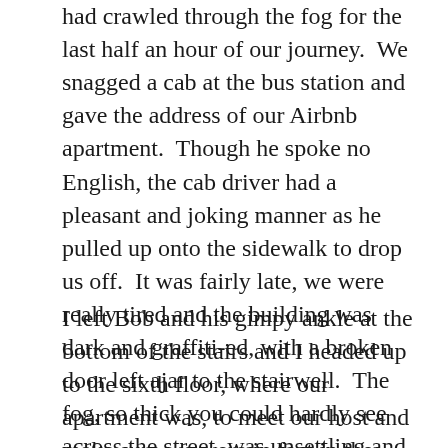had crawled through the fog for the last half an hour of our journey.  We snagged a cab at the bus station and gave the address of our Airbnb apartment.  Though he spoke no English, the cab driver had a pleasant and joking manner as he pulled up onto the sidewalk to drop us off.  It was fairly late, we were really tired and the building was dark and graffiti-ed, with a broken door left ajar to the stairwell.  The fog, so thick you could hardly see across the street, was unsettling and surreal.
I left Bob and his gimpy ankle at the bottom of the stairs and I headed up to the sixth floor, where our apartment was, to meet our host and make sure we were in fact in the right spot.  The neutral wallpaper was torn in places and some of the windows in the stairwell were graffiti-ed and I was immediately taken back to my time in post-